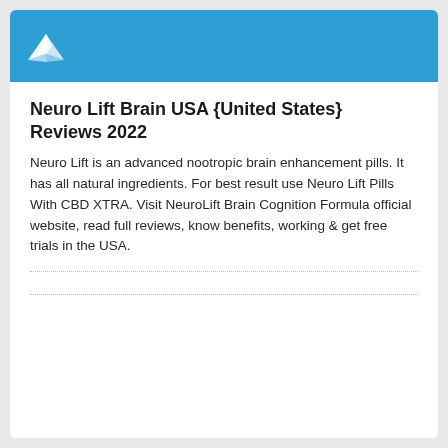[Figure (logo): White origami bird / paper crane logo on blue header bar background]
Neuro Lift Brain USA {United States} Reviews 2022
Neuro Lift is an advanced nootropic brain enhancement pills. It has all natural ingredients. For best result use Neuro Lift Pills With CBD XTRA. Visit NeuroLift Brain Cognition Formula official website, read full reviews, know benefits, working & get free trials in the USA.